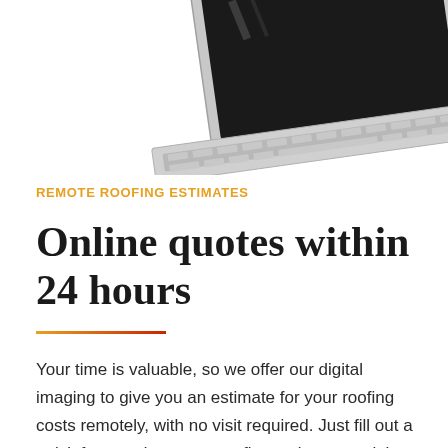[Figure (photo): Partial view of a silver laptop computer from an angled above perspective, showing the keyboard and screen partially visible, set against a white background.]
REMOTE ROOFING ESTIMATES
Online quotes within 24 hours
Your time is valuable, so we offer our digital imaging to give you an estimate for your roofing costs remotely, with no visit required. Just fill out a quick form and get your roofing estimate straight to your inbox in 24 hours or less.